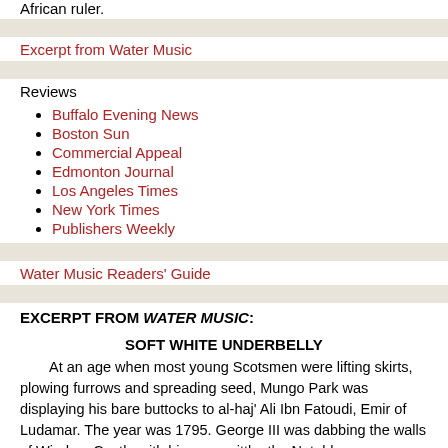African ruler.
Excerpt from Water Music
Reviews
Buffalo Evening News
Boston Sun
Commercial Appeal
Edmonton Journal
Los Angeles Times
New York Times
Publishers Weekly
Water Music Readers' Guide
EXCERPT FROM WATER MUSIC:
SOFT WHITE UNDERBELLY
At an age when most young Scotsmen were lifting skirts, plowing furrows and spreading seed, Mungo Park was displaying his bare buttocks to al-haj' Ali Ibn Fatoudi, Emir of Ludamar.  The year was 1795.  George III was dabbing the walls of Windsor Castle with his own spittle, the Notables were botchings things in France, Goya was deaf, DeQuincey a depraved pre-adolescent,